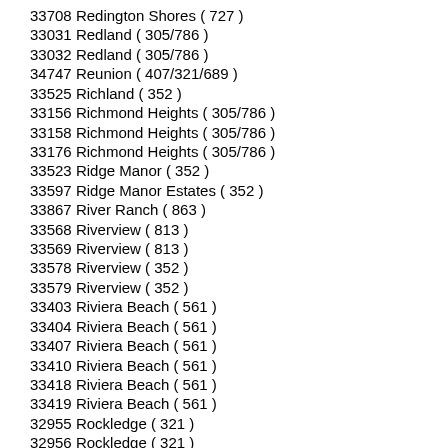33708 Redington Shores ( 727 )
33031 Redland ( 305/786 )
33032 Redland ( 305/786 )
34747 Reunion ( 407/321/689 )
33525 Richland ( 352 )
33156 Richmond Heights ( 305/786 )
33158 Richmond Heights ( 305/786 )
33176 Richmond Heights ( 305/786 )
33523 Ridge Manor ( 352 )
33597 Ridge Manor Estates ( 352 )
33867 River Ranch ( 863 )
33568 Riverview ( 813 )
33569 Riverview ( 813 )
33578 Riverview ( 352 )
33579 Riverview ( 352 )
33403 Riviera Beach ( 561 )
33404 Riviera Beach ( 561 )
33407 Riviera Beach ( 561 )
33410 Riviera Beach ( 561 )
33418 Riviera Beach ( 561 )
33419 Riviera Beach ( 561 )
32955 Rockledge ( 321 )
32956 Rockledge ( 321 )
34602 Rolling Acres ( 352 )
32957 Roseland ( 772 )
32413 Rosemary Bch ( 850 )
32461 Rosemary Bch ( 850 )